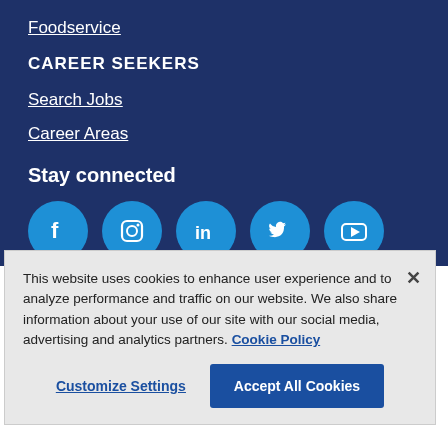Foodservice
CAREER SEEKERS
Search Jobs
Career Areas
Stay connected
[Figure (illustration): Five social media icon circles for Facebook, Instagram, LinkedIn, Twitter, and YouTube in bright blue]
This website uses cookies to enhance user experience and to analyze performance and traffic on our website. We also share information about your use of our site with our social media, advertising and analytics partners. Cookie Policy
Customize Settings
Accept All Cookies